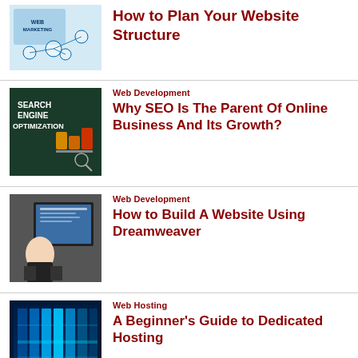[Figure (photo): Web marketing mind map illustration]
How to Plan Your Website Structure
[Figure (photo): Search Engine Optimization text with wooden blocks]
Web Development
Why SEO Is The Parent Of Online Business And Its Growth?
[Figure (photo): Woman standing with arms crossed in front of web design display]
Web Development
How to Build A Website Using Dreamweaver
[Figure (photo): Blue server rack lights in data center]
Web Hosting
A Beginner's Guide to Dedicated Hosting
[Figure (photo): Partial view of a website creation related image]
Website Creation
Promoting Your store Image Ti...